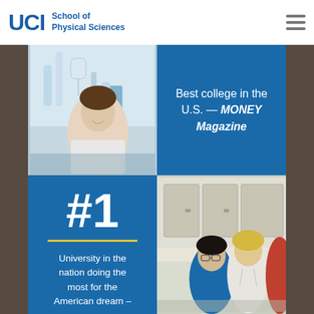UCI School of Physical Sciences
[Figure (photo): Laboratory equipment with glassware and a scientist in background]
Best college in the U.S. — MONEY Magazine
#1
University in the nation doing the most for the American dream –